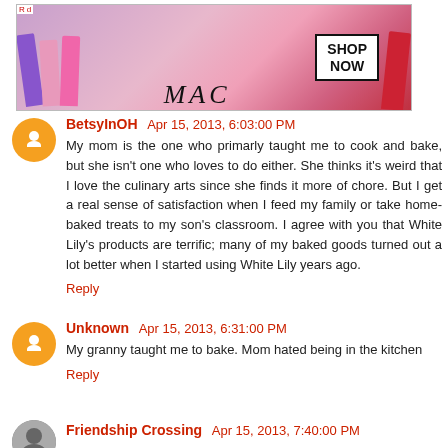[Figure (photo): MAC Cosmetics advertisement banner showing colorful lipsticks (purple, pink, red) with MAC logo and SHOP NOW button]
BetsyInOH Apr 15, 2013, 6:03:00 PM
My mom is the one who primarly taught me to cook and bake, but she isn't one who loves to do either. She thinks it's weird that I love the culinary arts since she finds it more of chore. But I get a real sense of satisfaction when I feed my family or take home-baked treats to my son's classroom. I agree with you that White Lily's products are terrific; many of my baked goods turned out a lot better when I started using White Lily years ago.
Reply
Unknown Apr 15, 2013, 6:31:00 PM
My granny taught me to bake. Mom hated being in the kitchen
Reply
Friendship Crossing Apr 15, 2013, 7:40:00 PM